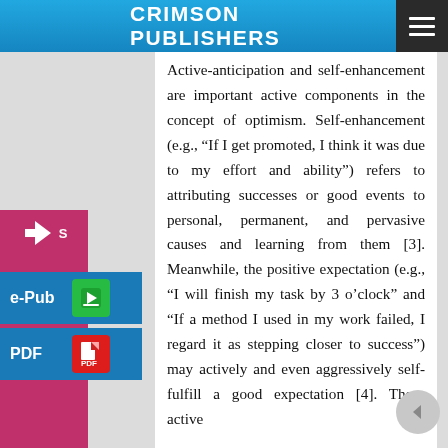CRIMSON PUBLISHERS
Active-anticipation and self-enhancement are important active components in the concept of optimism. Self-enhancement (e.g., “If I get promoted, I think it was due to my effort and ability”) refers to attributing successes or good events to personal, permanent, and pervasive causes and learning from them [3]. Meanwhile, the positive expectation (e.g., “I will finish my task by 3 o’clock” and “If a method I used in my work failed, I regard it as stepping closer to success”) may actively and even aggressively self-fulfill a good expectation [4]. These active